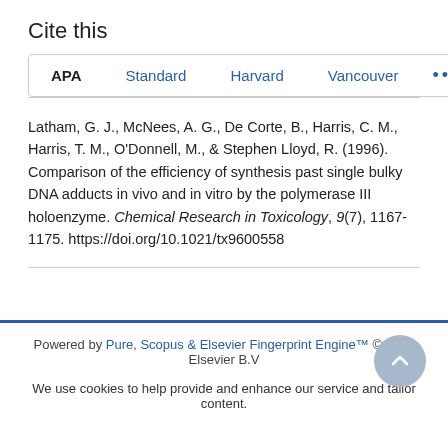Cite this
APA | Standard | Harvard | Vancouver | ...
Latham, G. J., McNees, A. G., De Corte, B., Harris, C. M., Harris, T. M., O'Donnell, M., & Stephen Lloyd, R. (1996). Comparison of the efficiency of synthesis past single bulky DNA adducts in vivo and in vitro by the polymerase III holoenzyme. Chemical Research in Toxicology, 9(7), 1167-1175. https://doi.org/10.1021/tx9600558
Powered by Pure, Scopus & Elsevier Fingerprint Engine™ © 2022 Elsevier B.V
We use cookies to help provide and enhance our service and tailor content.